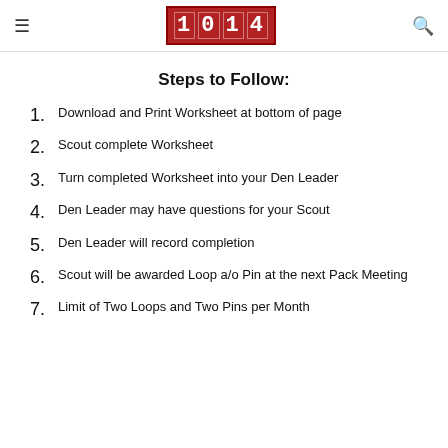≡  1014  🔍
Steps to Follow:
Download and Print Worksheet at bottom of page
Scout complete Worksheet
Turn completed Worksheet into your Den Leader
Den Leader may have questions for your Scout
Den Leader will record completion
Scout will be awarded Loop a/o Pin at the next Pack Meeting
Limit of Two Loops and Two Pins per Month